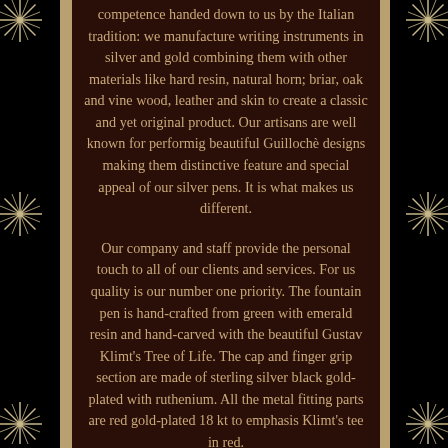competence handed down to us by the Italian tradition: we manufacture writing instruments in silver and gold combining them with other materials like hard resin, natural horn; briar, oak and vine wood, leather and skin to create a classic and yet original product. Our artisans are well known for performig beautiful Guillochè designs making them distinctive feature and special appeal of our silver pens. It is what makes us different.

Our company and staff provide the personal touch to all of our clients and services. For us quality is our number one priority. The fountain pen is hand-crafted from green with emerald resin and hand-carved with the beautiful Gustav Klimt's Tree of Life. The cap and finger grip section are made of sterling silver black gold-plated with ruthenium. All the metal fitting parts are red gold-plated 18 kt to emphasis Klimt's tee in red.